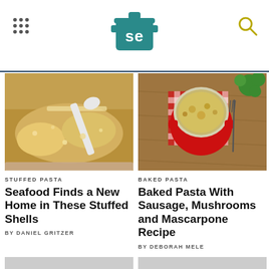Serious Eats logo, navigation grid, search icon
[Figure (photo): Close-up of stuffed pasta shells with breadcrumb topping being scooped from a baking dish]
STUFFED PASTA
Seafood Finds a New Home in These Stuffed Shells
BY DANIEL GRITZER
[Figure (photo): Baked pasta in a small red ramekin on a wooden cutting board with red checkered cloth and fresh herbs]
BAKED PASTA
Baked Pasta With Sausage, Mushrooms and Mascarpone Recipe
BY DEBORAH MELE
[Figure (photo): Gray placeholder image for third article]
[Figure (photo): Gray placeholder image for fourth article]